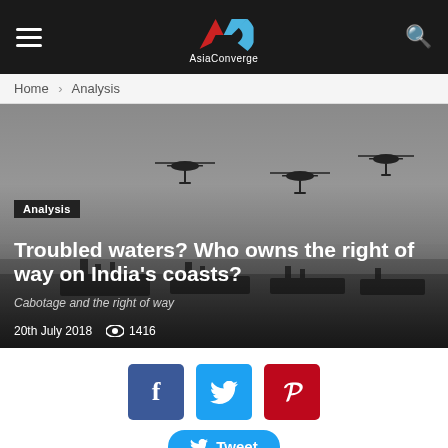AsiaConverge
Home › Analysis
[Figure (photo): Three military helicopters flying in misty sky above naval ships in grey water]
Analysis
Troubled waters? Who owns the right of way on India's coasts?
Cabotage and the right of way
20th July 2018  👁 1416
[Figure (infographic): Social sharing buttons: Facebook (blue), Twitter (cyan), Pinterest (red), and a Tweet button]